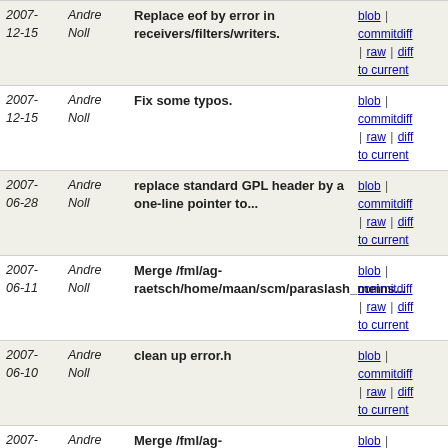| Date | Author | Commit message | Links |
| --- | --- | --- | --- |
| 2007-12-15 | Andre Noll | Replace eof by error in receivers/filters/writers. | blob | commitdiff | raw | diff to current |
| 2007-12-15 | Andre Noll | Fix some typos. | blob | commitdiff | raw | diff to current |
| 2007-06-28 | Andre Noll | replace standard GPL header by a one-line pointer to... | blob | commitdiff | raw | diff to current |
| 2007-06-11 | Andre Noll | Merge /fml/ag-raetsch/home/maan/scm/paraslash_meins... | blob | commitdiff | raw | diff to current |
| 2007-06-10 | Andre Noll | clean up error.h | blob | commitdiff | raw | diff to current |
| 2007-03-02 | Andre Noll | Merge /fml/ag-raetsch/home/maan/scm/paraslash_meins... | blob | commitdiff | raw | diff to current |
| 2007-02-20 | Andre Noll | Merge /home/maan/scm/paraslash_fml/paraslash | blob | commitdiff | raw | diff to current |
| 2007-02-19 | Andre Noll | simplify setup_default_wng() | blob | commitdiff | raw | diff to current |
| 2007-02-10 | Andre Noll | Merge /home/maan/scm/paraslash_fml/paraslash | blob | commitdiff | raw | diff to current |
| 2007-02-10 | Andre Noll | add more missing documentation | blob | commitdiff | raw | diff to current |